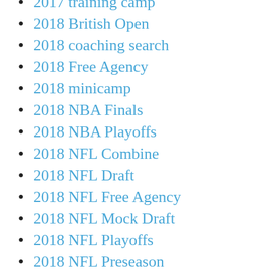2017 training camp
2018 British Open
2018 coaching search
2018 Free Agency
2018 minicamp
2018 NBA Finals
2018 NBA Playoffs
2018 NFL Combine
2018 NFL Draft
2018 NFL Free Agency
2018 NFL Mock Draft
2018 NFL Playoffs
2018 NFL Preseason
2018 NFL Pro Bowl
2018 Offseason
2018 OTAs
2018 Playoffs